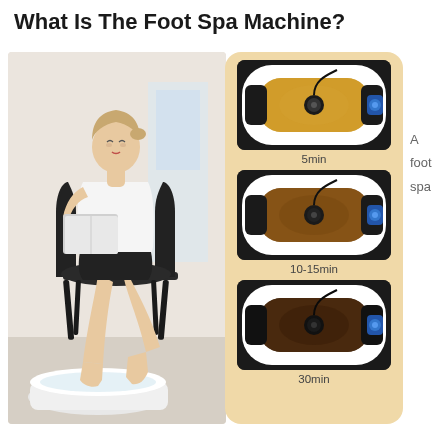What Is The Foot Spa Machine?
[Figure (photo): Woman sitting on a chair reading a magazine with her feet in a white foot spa basin on the floor]
[Figure (infographic): Beige panel showing three step images of a foot spa basin at 5min (yellow water), 10-15min (brown water), and 30min (dark brown water) with captions below each image]
A foot spa